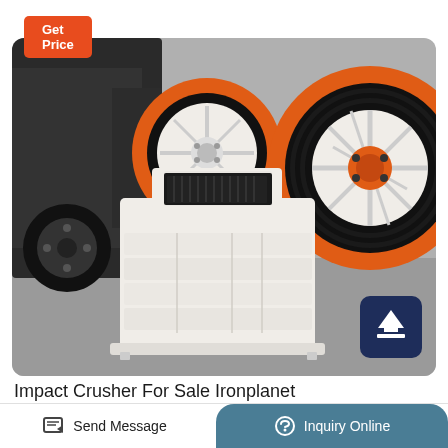Get Price
[Figure (photo): Photo of a jaw crusher / impact crusher machine with two large flywheel pulleys (orange and black), white painted body with ribbed sections, sitting on a concrete floor with a truck visible in background. A dark blue scroll-to-top button is overlaid in the bottom-right of the image.]
Impact Crusher For Sale Ironplanet
Send Message
Inquiry Online